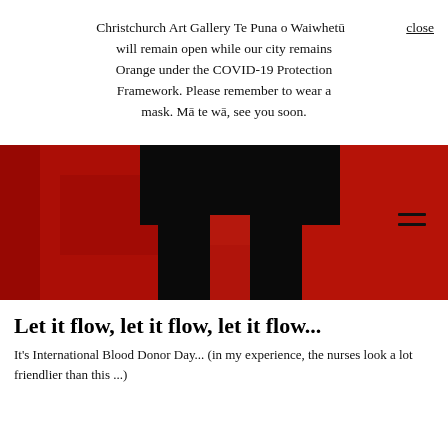Christchurch Art Gallery Te Puna o Waiwhetū close will remain open while our city remains Orange under the COVID-19 Protection Framework. Please remember to wear a mask. Mā te wā, see you soon.
[Figure (photo): A dramatic artwork photograph with a vivid red background and a dark black silhouette of a human figure standing with legs apart, upper body appearing hunched or cropped. A hamburger/menu icon appears in the top right corner of the image overlay.]
Let it flow, let it flow, let it flow...
It's International Blood Donor Day... (in my experience, the nurses look a lot friendlier than this ...)